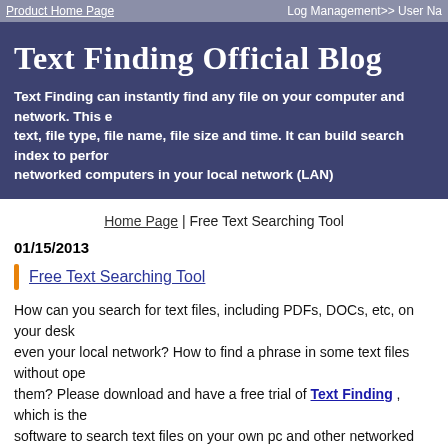Product Home Page | Log Management>> User Na
Text Finding Official Blog
Text Finding can instantly find any file on your computer and network. This e text, file type, file name, file size and time. It can build search index to perfo networked computers in your local network (LAN)
Home Page | Free Text Searching Tool
01/15/2013
Free Text Searching Tool
How can you search for text files, including PDFs, DOCs, etc, on your desk even your local network? How to find a phrase in some text files without ope them? Please download and have a free trial of Text Finding , which is the software to search text files on your own pc and other networked computers
Text Finding can perform instant file search with content indexing of files a folders you sepecify. This file content search tool is fairly easy to use. It ca only find files containing specific text string, but also find any file by a long p or setence, file type, file name, file size and file modified time. So using this application is the best way to find files stored anywhere on your computer o network.